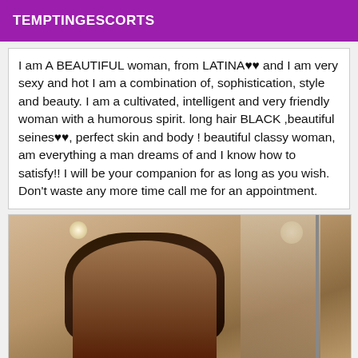TEMPTINGESCORTS
I am A BEAUTIFUL woman, from LATINA♥♥ and I am very sexy and hot I am a combination of, sophistication, style and beauty. I am a cultivated, intelligent and very friendly woman with a humorous spirit. long hair BLACK ,beautiful seines♥♥, perfect skin and body ! beautiful classy woman, am everything a man dreams of and I know how to satisfy!! I will be your companion for as long as you wish. Don't waste any more time call me for an appointment.
[Figure (photo): Photo of a woman with long dark hair taken in a room with a mirror]